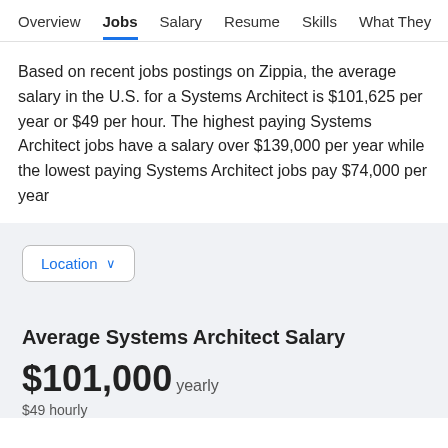Overview  Jobs  Salary  Resume  Skills  What They >
Based on recent jobs postings on Zippia, the average salary in the U.S. for a Systems Architect is $101,625 per year or $49 per hour. The highest paying Systems Architect jobs have a salary over $139,000 per year while the lowest paying Systems Architect jobs pay $74,000 per year
Location
Average Systems Architect Salary
$101,000 yearly
$49 hourly